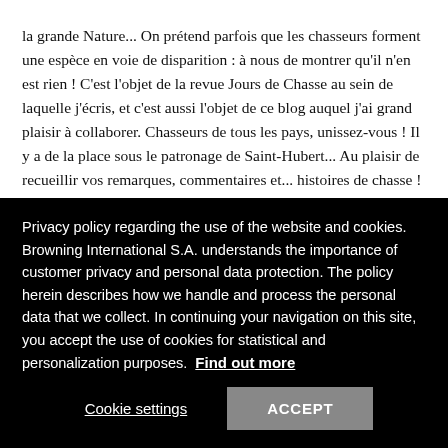la grande Nature... On prétend parfois que les chasseurs forment une espèce en voie de disparition : à nous de montrer qu'il n'en est rien ! C'est l'objet de la revue Jours de Chasse au sein de laquelle j'écris, et c'est aussi l'objet de ce blog auquel j'ai grand plaisir à collaborer. Chasseurs de tous les pays, unissez-vous ! Il y a de la place sous le patronage de Saint-Hubert... Au plaisir de recueillir vos remarques, commentaires et... histoires de chasse !
Privacy policy regarding the use of the website and cookies. Browning International S.A. understands the importance of customer privacy and personal data protection. The policy herein describes how we handle and process the personal data that we collect. In continuing your navigation on this site, you accept the use of cookies for statistical and personalization purposes. Find out more
Cookie settings   ACCEPT